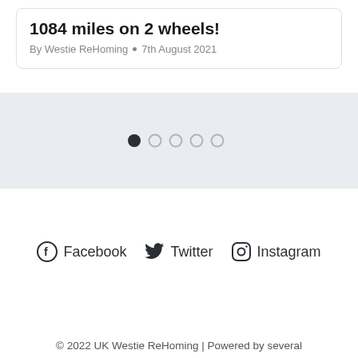1084 miles on 2 wheels!
By Westie ReHoming • 7th August 2021
[Figure (other): Carousel slider pagination dots: 6 dots total, first dot active (dark), rest greyed out]
Facebook   Twitter   Instagram
© 2022 UK Westie ReHoming | Powered by several